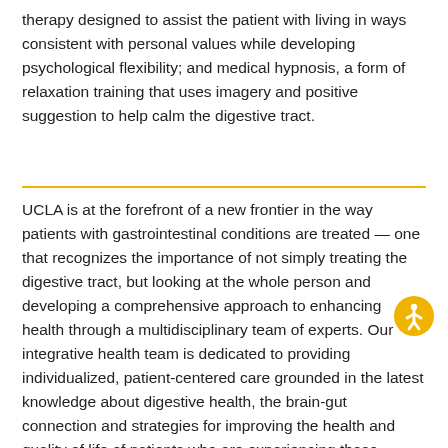therapy designed to assist the patient with living in ways consistent with personal values while developing psychological flexibility; and medical hypnosis, a form of relaxation training that uses imagery and positive suggestion to help calm the digestive tract.
UCLA is at the forefront of a new frontier in the way patients with gastrointestinal conditions are treated — one that recognizes the importance of not simply treating the digestive tract, but looking at the whole person and developing a comprehensive approach to enhancing health through a multidisciplinary team of experts. Our integrative health team is dedicated to providing individualized, patient-centered care grounded in the latest knowledge about digestive health, the brain-gut connection and strategies for improving the health and quality of life of patients who are experiencing these conditions. Together, we can help to identify the approach that is best for you, and work with you toward achieving the best possible